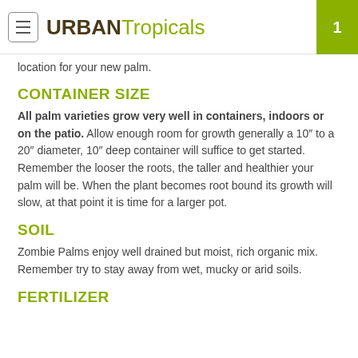URBAN Tropicals
location for your new palm.
CONTAINER SIZE
All palm varieties grow very well in containers, indoors or on the patio. Allow enough room for growth generally a 10″ to a 20″ diameter, 10″ deep container will suffice to get started. Remember the looser the roots, the taller and healthier your palm will be. When the plant becomes root bound its growth will slow, at that point it is time for a larger pot.
SOIL
Zombie Palms enjoy well drained but moist, rich organic mix. Remember try to stay away from wet, mucky or arid soils.
FERTILIZER